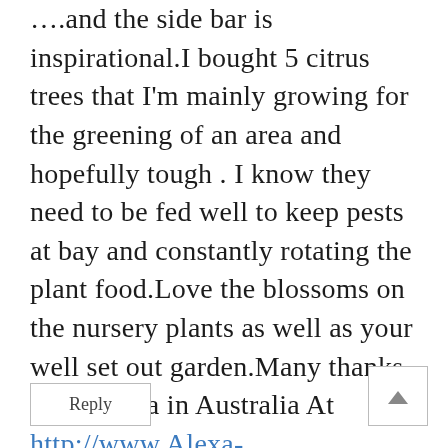….and the side bar is inspirational.I bought 5 citrus trees that I'm mainly growing for the greening of an area and hopefully tough . I know they need to be fed well to keep pests at bay and constantly rotating the plant food.Love the blossoms on the nursery plants as well as your well set out garden.Many thanks from Alexa in Australia At http://www.Alexa-asimplelife.com
Reply